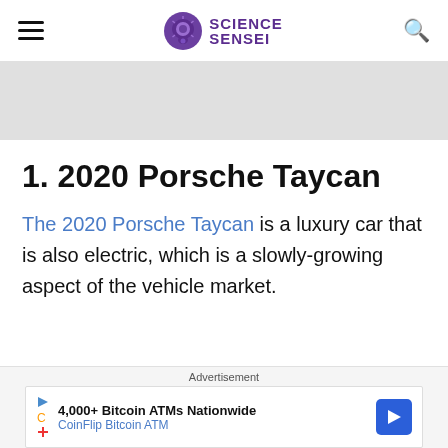Science Sensei
[Figure (other): Gray advertisement banner placeholder]
1. 2020 Porsche Taycan
The 2020 Porsche Taycan is a luxury car that is also electric, which is a slowly-growing aspect of the vehicle market.
[Figure (other): Advertisement: 4,000+ Bitcoin ATMs Nationwide - CoinFlip Bitcoin ATM]